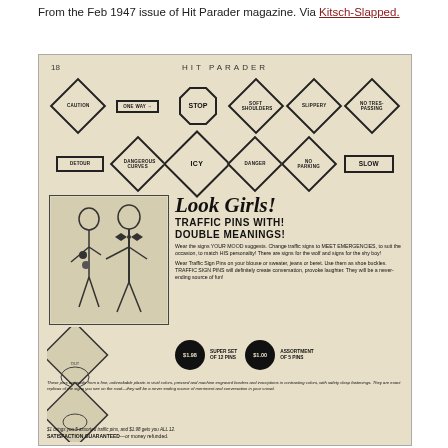From the Feb 1947 issue of Hit Parader magazine. Via Kitsch-Slapped.
[Figure (photo): Scanned page 18 from the February 1947 issue of Hit Parader magazine showing a vintage advertisement for Traffic Sign Pins with Double Meanings. The ad shows traffic sign shapes (CAUTION, ONE WAY, STOP, SOFT SHOULDERS, SLIPPERY, NO TRESPASSING, DETOUR, DANGEROUS CURVES, ICY, DANGER, NO PARKING, SLOW) and text 'Look Girls! TRAFFIC PINS WITH! DOUBLE MEANINGS!' with pricing of $1.98 for super set of 12 pins and $1.00 for assortment of 5 pins.]